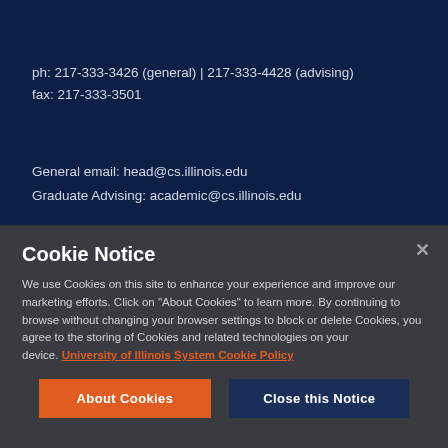ph: 217-333-3426 (general) | 217-333-4428 (advising)
fax: 217-333-3501
General email: head@cs.illinois.edu
Graduate Advising: academic@cs.illinois.edu
Cookie Notice
We use Cookies on this site to enhance your experience and improve our marketing efforts. Click on "About Cookies" to learn more. By continuing to browse without changing your browser settings to block or delete Cookies, you agree to the storing of Cookies and related technologies on your device. University of Illinois System Cookie Policy
About Cookies | Close this Notice